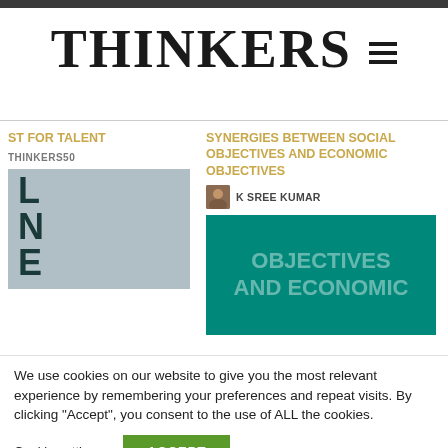THINKERS50
ST FOR TALENT
THINKERS50
SYNERGIES BETWEEN SOCIAL OBJECTIVES AND ECONOMIC OBJECTIVES
K SREE KUMAR
We use cookies on our website to give you the most relevant experience by remembering your preferences and repeat visits. By clicking “Accept”, you consent to the use of ALL the cookies.
Cookie settings
ACCEPT